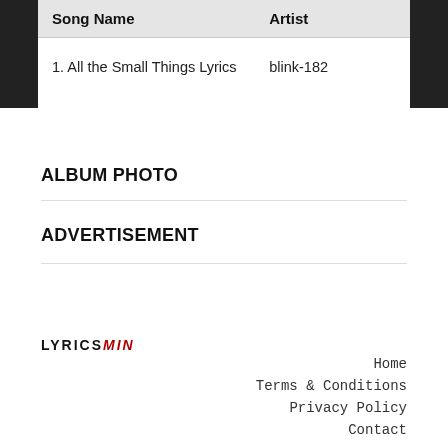| Song Name | Artist |
| --- | --- |
| 1. All the Small Things Lyrics | blink-182 |
ALBUM PHOTO
ADVERTISEMENT
LYRICSMIN  Home  Terms & Conditions  Privacy Policy  Contact